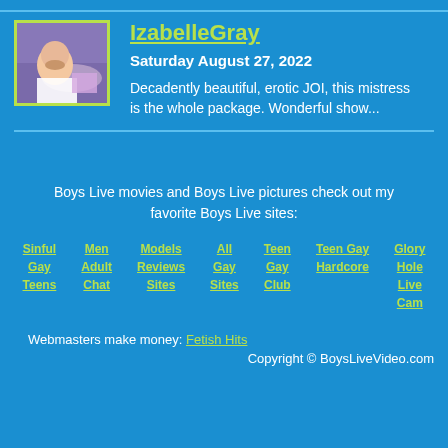[Figure (photo): Profile photo of IzabelleGray, woman with purple background and pillow]
IzabelleGray
Saturday August 27, 2022
Decadently beautiful, erotic JOI, this mistress is the whole package. Wonderful show...
Boys Live movies and Boys Live pictures check out my favorite Boys Live sites:
Sinful Gay Teens
Men Adult Chat
Models Reviews Sites
All Gay Sites
Teen Gay Club
Teen Gay Hardcore
Glory Hole Live Cam
Webmasters make money: Fetish Hits
Copyright © BoysLiveVideo.com